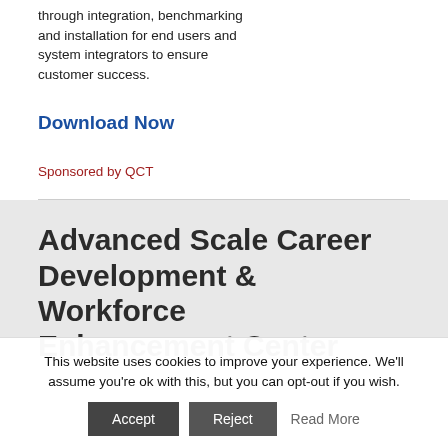through integration, benchmarking and installation for end users and system integrators to ensure customer success.
Download Now
Sponsored by QCT
Advanced Scale Career Development & Workforce Enhancement Center
This website uses cookies to improve your experience. We'll assume you're ok with this, but you can opt-out if you wish.
Accept | Reject | Read More